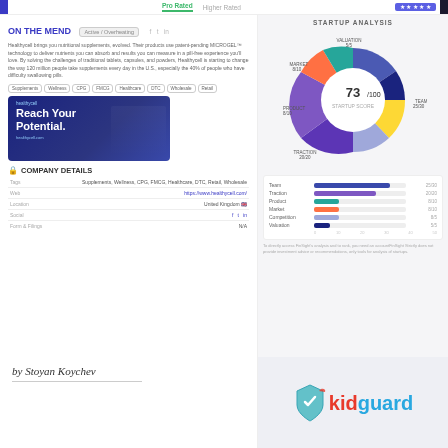Pro Rated | Higher Rated
ON THE MEND
Active / Overheating
Healthycell brings you nutritional supplements, evolved. Their products use patent-pending MICROGEL™ technology to deliver nutrients you can absorb and results you can measure in a pill-free experience you'll love. By solving the challenges of traditional tablets, capsules, and powders, Healthycell is starting to change the way 120 million people take supplements every day in the U.S., especially the 40% of people who have difficulty swallowing pills.
Supplements
Wellness
CPG
FMCG
Healthcare
DTC
Wholesale
Retail
[Figure (photo): Healthycell product ad: Reach Your Potential. healthycell.com]
COMPANY DETAILS
| Field | Value |
| --- | --- |
| Tags | Supplements, Wellness, CPG, FMCG, Healthcare, DTC, Retail, Wholesale |
| Web | https://www.healthycell.com/ |
| Location | United Kingdom 🇬🇧 |
| Social | f t in |
| Form & Filings | N/A |
STARTUP ANALYSIS
[Figure (donut-chart): STARTUP SCORE]
[Figure (bar-chart): Startup Analysis Scores]
To directly access FinSight's analysis and to rank, you need an accountFinSight Strictly does not provide investment advice or recommendations, only tools for analysis of startups.
by Stoyan Koychev
[Figure (logo): kidguard logo with shield icon]